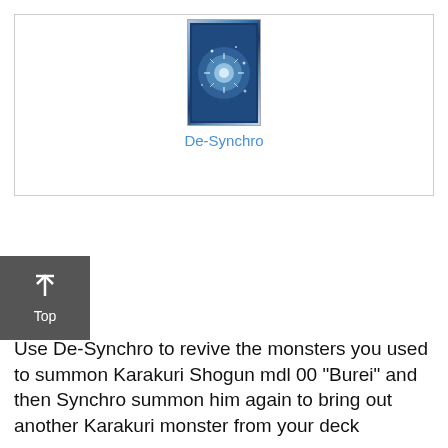[Figure (illustration): A Yu-Gi-Oh! trading card image for 'De-Synchro' showing a blue/white swirling magical effect with sparkles on a dark blue card background]
De-Synchro
Use De-Synchro to revive the monsters you used to summon Karakuri Shogun mdl 00 “Burei” and then Synchro summon him again to bring out another Karakuri monster from your deck